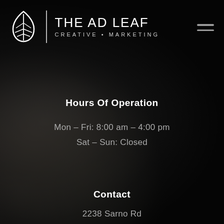[Figure (logo): The Ad Leaf Creative Marketing logo — white leaf icon, vertical divider, text 'THE AD LEAF' and 'CREATIVE • MARKETING']
Hours Of Operation
Mon – Fri: 8:00 am – 4:00 pm
Sat – Sun: Closed
Contact
2238 Sarno Rd